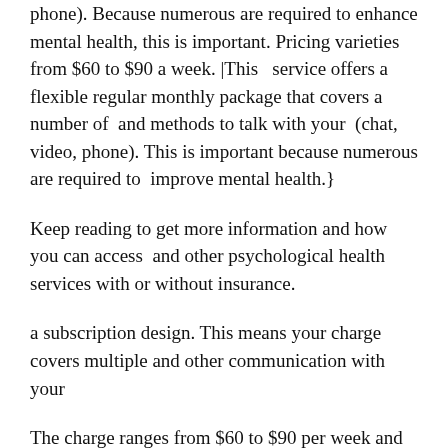phone). Because numerous are required to enhance mental health, this is important. Pricing varieties from $60 to $90 a week. |This   service offers a flexible regular monthly package that covers a number of  and methods to talk with your  (chat, video, phone). This is important because numerous are required to  improve mental health.}
Keep reading to get more information and how you can access  and other psychological health services with or without insurance.
a subscription design. This means your charge covers multiple and other communication with your
The charge ranges from $60 to $90 per week and is billed monthly. You'll be charged between $240 and $320 each month, payable via a credit card or PayPal.